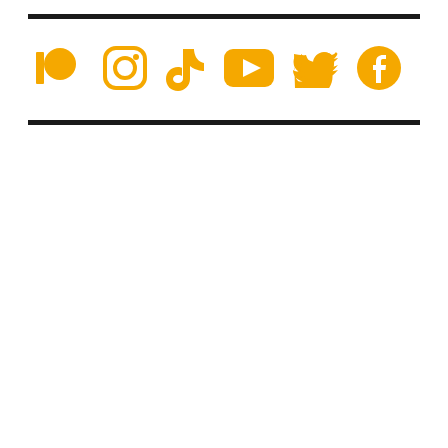[Figure (logo): Row of social media icons in golden/amber color: Patreon, Instagram, TikTok, YouTube, Twitter, Facebook]